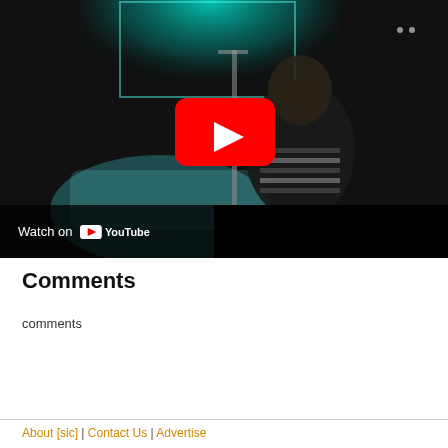[Figure (screenshot): YouTube video thumbnail showing a person in a hospital-like setting with teal/dark lighting. A large red YouTube play button is centered on the image. Bottom-left shows 'Watch on YouTube' with the YouTube logo.]
Comments
comments
About [sic] | Contact Us | Advertise